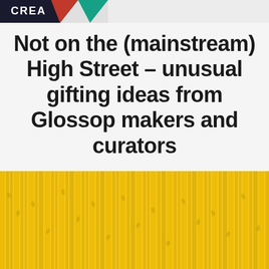CREA...
Not on the (mainstream) High Street – unusual gifting ideas from Glossop makers and curators
Review  Dec 14  Share
[Figure (illustration): Decorative image with golden/yellow vertical stripes pattern resembling birch trees with small leaf details]